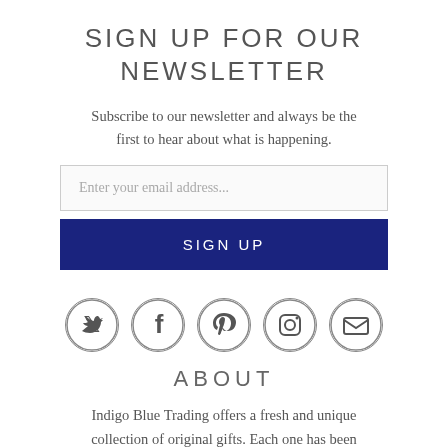SIGN UP FOR OUR NEWSLETTER
Subscribe to our newsletter and always be the first to hear about what is happening.
[Figure (infographic): Email address input field with placeholder text 'Enter your email address...']
[Figure (infographic): Dark navy blue SIGN UP button]
[Figure (infographic): Five social media icons in circles: Twitter, Facebook, Pinterest, Instagram, Email]
ABOUT
Indigo Blue Trading offers a fresh and unique collection of original gifts. Each one has been handpicked for its individual quality and appeal and we are...